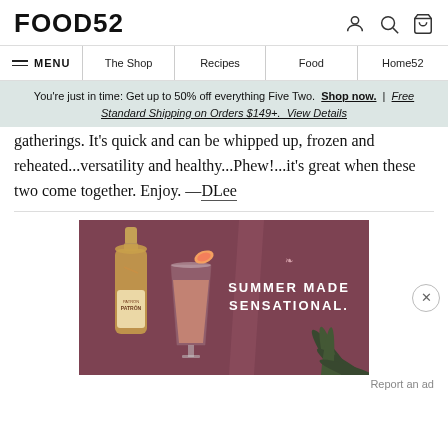FOOD52
MENU  |  The Shop  |  Recipes  |  Food  |  Home52
You're just in time: Get up to 50% off everything Five Two. Shop now. | Free Standard Shipping on Orders $149+. View Details
gatherings. It's quick and can be whipped up, frozen and reheated...versatility and healthy...Phew!...it's great when these two come together. Enjoy. —DLee
[Figure (photo): Patrón tequila advertisement with bottle and cocktail on mauve/dusty rose background with agave plant. Text reads 'SUMMER MADE SENSATIONAL.']
Report an ad